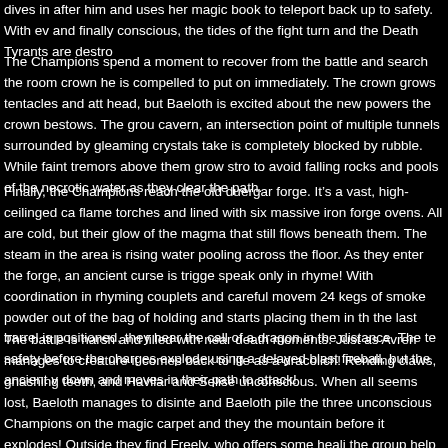dives in after him and uses her magic book to teleport back up to safety. With ev and finally conscious, the tides of the fight turn and the Death Tyrants are destro
The Champions spend a moment to recover from the battle and search the room crown he is compelled to put on immediately. The crown grows tentacles and att head, but Baeloth is excited about the new powers the crown bestows. The grou cavern, an intersection point of multiple tunnels surrounded by gleaming crystals take is completely blocked by rubble. While faint tremors above them grow stro to avoid falling rocks and pools of the necrotic water as they clear the path.
Finally, the Champions reach the old duergar forge. It's a vast, high-ceilinged ca flame torches and lined with six massive iron forge ovens. All are cold, but their glow of the magma that still flows beneath them. The steam in the area is rising water pooling across the floor. As they enter the forge, an ancient curse is trigge speak only in rhyme! With coordination in rhyming couplets and careful movem 24 kegs of smoke powder out of the bag of holding and starts placing them in th the last barrel is positioned, they hear the call of a dragon in the distance. The te safety before the charges explode using a delayed blast fireball, but the ancient v down and moves in their path to attack!
The battle is harsh and filled with near death moments. Just as Avren manages to creature it comes back to life as a dracolich! Rending claws, gnashing teeth, and Havilar and Selise unconscious. When all seems lost, Baeloth manages to disinte and Baeloth pile the three unconscious Champions on the magic carpet and they the mountain before it explodes! Outside they find Freely, who offers some heali the group help with the final offensive. The halfling disappears to deliver messa Champions as Tiamat suddenly explodes out of the mountain with a ground shak